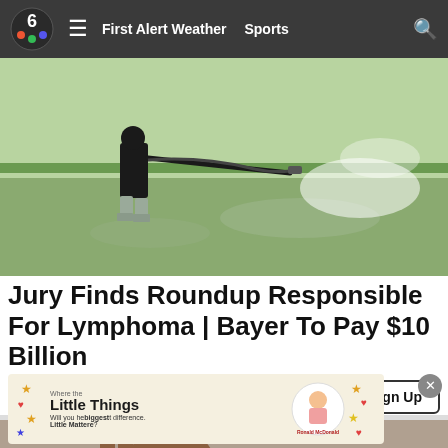First Alert Weather | Sports
[Figure (photo): Person in black clothing and rubber boots spraying herbicide over a rice paddy field with a hand-held sprayer, green grassy field background]
Jury Finds Roundup Responsible For Lymphoma | Bayer To Pay $10 Billion
National Injury Bureau | Sponsored
[Figure (photo): Close-up of a hand holding a car key, passing it to another person]
[Figure (photo): Advertisement banner: Little Things - Will you help make the biggest difference? Ronald McDonald House Charities Omaha]